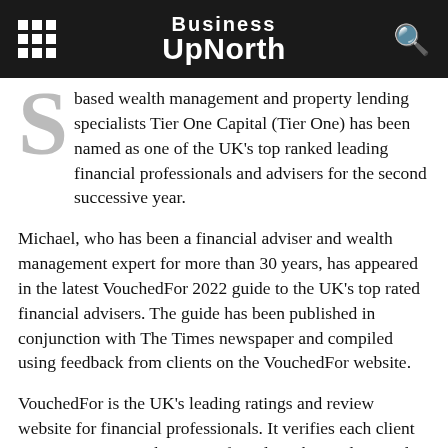Business UpNorth
based wealth management and property lending specialists Tier One Capital (Tier One) has been named as one of the UK's top ranked leading financial professionals and advisers for the second successive year.
Michael, who has been a financial adviser and wealth management expert for more than 30 years, has appeared in the latest VouchedFor 2022 guide to the UK's top rated financial advisers. The guide has been published in conjunction with The Times newspaper and compiled using feedback from clients on the VouchedFor website.
VouchedFor is the UK's leading ratings and review website for financial professionals. It verifies each client review using a combination of an algorithm and manual investigations in order to prevent advisers only accepting positive reviews.